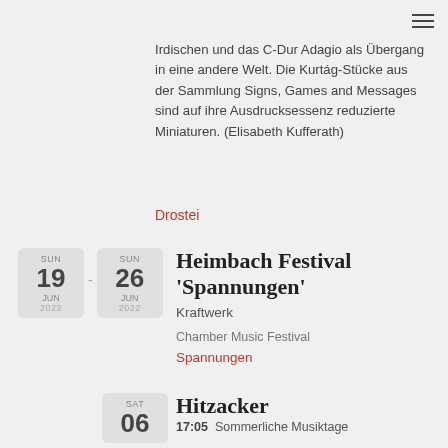Irdischen und das C-Dur Adagio als Übergang in eine andere Welt. Die Kurtág-Stücke aus der Sammlung Signs, Games and Messages sind auf ihre Ausdrucksessenz reduzierte Miniaturen. (Elisabeth Kufferath)
Drostei
Heimbach Festival 'Spannungen'
Kraftwerk
Chamber Music Festival
Spannungen
Hitzacker
17:05   Sommerliche Musiktage